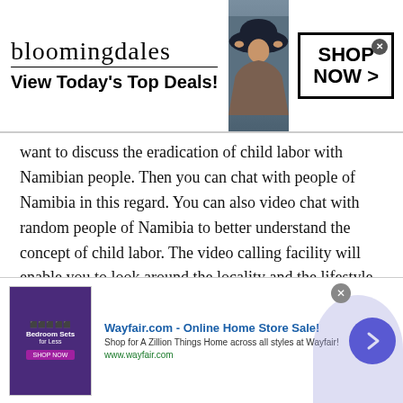[Figure (screenshot): Bloomingdale's advertisement banner: logo text 'bloomingdales', tagline 'View Today's Top Deals!', model with hat, 'SHOP NOW >' button]
want to discuss the eradication of child labor with Namibian people. Then you can chat with people of Namibia in this regard. You can also video chat with random people of Namibia to better understand the concept of child labor. The video calling facility will enable you to look around the locality and the lifestyle of the people. And then you can directly ask them questions about why they force their children to work.
Apart from this, you can also chat with people at a
[Figure (screenshot): Wayfair.com online advertisement: 'Wayfair.com - Online Home Store Sale!' with bedroom sets image, description text, www.wayfair.com URL, and navigation arrow button]